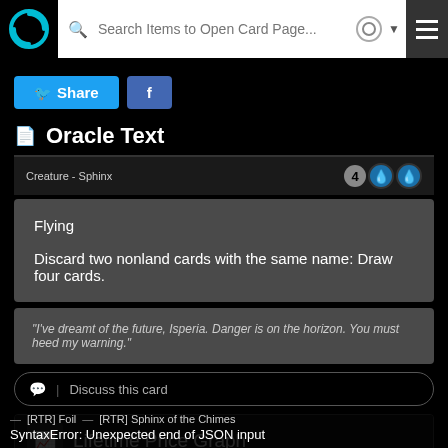Search Items to Open Card Page...
Oracle Text
Creature - Sphinx
Flying

Discard two nonland cards with the same name: Draw four cards.
"I've dreamt of the future, Isperia. Danger is on the horizon. You must heed my warning."
Discuss this card
Lifetime Price Graph
Zoom  1m  3m  |  — [RTR] Foil  — [RTR] Sphinx of the Chimes
SyntaxError: Unexpected end of JSON input